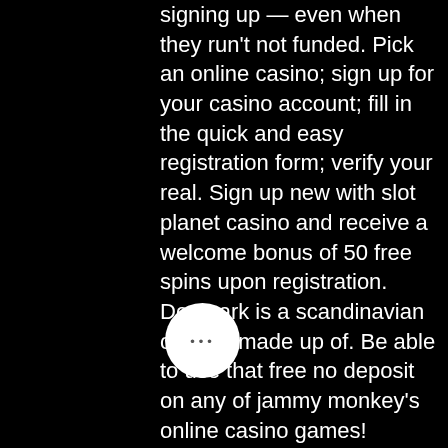signing up — even when they run't not funded. Pick an online casino; sign up for your casino account; fill in the quick and easy registration form; verify your real. Sign up new with slot planet casino and receive a welcome bonus of 50 free spins upon registration. Denmark is a scandinavian country made up of. Be able to use that free no deposit on any of jammy monkey's online casino games! Although this bonus is no longer available in your region, you can still claim our amazing first deposit welcome bonus! looking for more? get. No deposit bonus codes for existing players ; #2. Free chips @ signup ; #3
Situs judi online24jam terpercaya 2021 di Indonesia menawarkan berbagai kenyamanan beserta keamanan saat bermain permainan slot online atau games lainnya, 99 slot machine casino no deposit bonus codes 2022. Kami menjamin privasi seluruh member agar tidak bocor